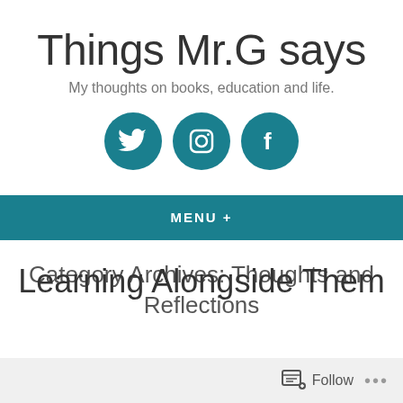Things Mr.G says
My thoughts on books, education and life.
[Figure (illustration): Three teal circular social media icons: Twitter bird, Instagram camera outline, Facebook f logo]
MENU +
Category Archives: Thoughts and Reflections
Learning Alongside Them
Follow ...